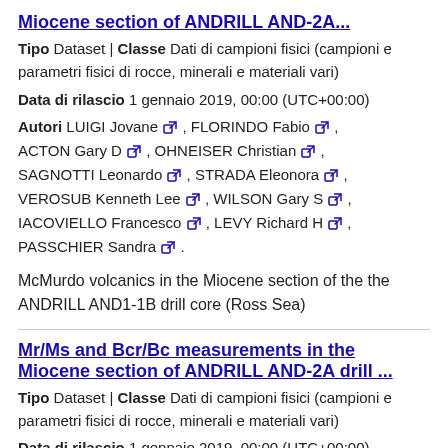Miocene section of ANDRILL AND-2A...
Tipo Dataset | Classe Dati di campioni fisici (campioni e parametri fisici di rocce, minerali e materiali vari)
Data di rilascio 1 gennaio 2019, 00:00 (UTC+00:00)
Autori LUIGI Jovane , FLORINDO Fabio , ACTON Gary D , OHNEISER Christian , SAGNOTTI Leonardo , STRADA Eleonora , VEROSUB Kenneth Lee , WILSON Gary S , IACOVIELLO Francesco , LEVY Richard H , PASSCHIER Sandra .
McMurdo volcanics in the Miocene section of the the ANDRILL AND1-1B drill core (Ross Sea)
Mr/Ms and Bcr/Bc measurements in the Miocene section of ANDRILL AND-2A drill ...
Tipo Dataset | Classe Dati di campioni fisici (campioni e parametri fisici di rocce, minerali e materiali vari)
Data di rilascio 1 gennaio 2019, 00:00 (UTC+00:00)
Autori LUIGI Jovane , FLORINDO Fabio ,